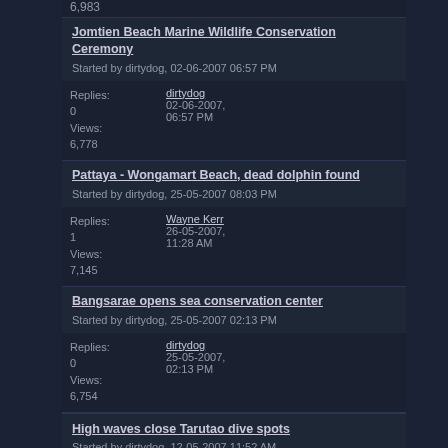6,983
Jomtien Beach Marine Wildlife Conservation Ceremony
Started by dirtydog, 02-06-2007 06:57 PM
Replies: 0 Views: 6,778
Last post by dirtydog 02-06-2007, 06:57 PM
Pattaya - Wongamart Beach, dead dolphin found
Started by dirtydog, 25-05-2007 08:03 PM
Replies: 1 Views: 7,145
Last post by Wayne Kerr 26-05-2007, 11:28 AM
Bangsarae opens sea conservation center
Started by dirtydog, 25-05-2007 02:13 PM
Replies: 0 Views: 6,754
Last post by dirtydog 25-05-2007, 02:13 PM
High waves close Tarutao dive spots
Started by dirtydog, 12-05-2007 11:52 AM